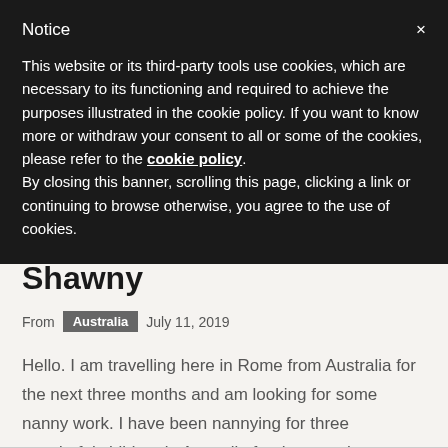Notice
This website or its third-party tools use cookies, which are necessary to its functioning and required to achieve the purposes illustrated in the cookie policy. If you want to know more or withdraw your consent to all or some of the cookies, please refer to the cookie policy. By closing this banner, scrolling this page, clicking a link or continuing to browse otherwise, you agree to the use of cookies.
Shawny
From Australia July 11, 2019
Hello. I am travelling here in Rome from Australia for the next three months and am looking for some nanny work. I have been nannying for three wonderful children in Australia for the past three years and have ...